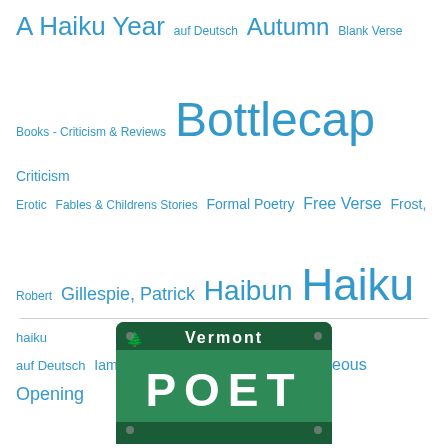[Figure (infographic): Tag cloud with poetry-related tags in various sizes in blue, including: A Haiku Year, auf Deutsch, Autumn, Blank Verse, Books - Criticism & Reviews, Bottlecap, Criticism, Erotic, Fables & Childrens Stories, Formal Poetry, Free Verse, Frost Robert, Gillespie Patrick, Haibun, Haiku, haiku auf Deutsch, Iambic Pentameter, Meter, Miscellaneous, Opening Book, Opinion, Poem, Poetry, Rhyme, Shakespeare William, Sonnet, Spring, Summer, Winter]
[Figure (photo): Vermont license plate reading POET, Green Mountain State]